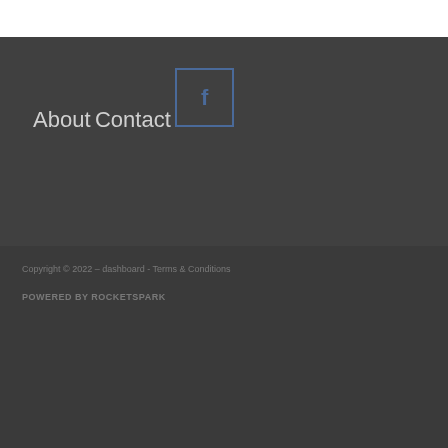About
Contact
[Figure (logo): Facebook social media icon — a square with blue border containing the letter f in blue]
Copyright © 2022 – dashboard - Terms & Conditions
POWERED BY ROCKETSPARK